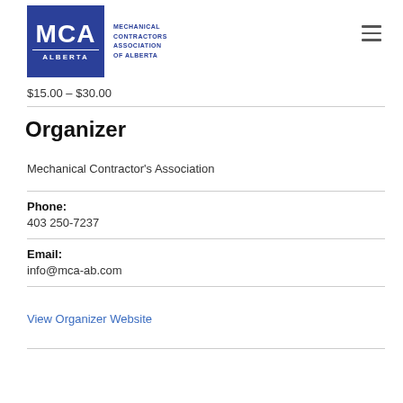[Figure (logo): MCA Alberta - Mechanical Contractors Association of Alberta logo, blue square with MCA text and ALBERTA below, followed by full text to the right]
$15.00 – $30.00
Organizer
Mechanical Contractor's Association
Phone:
403 250-7237
Email:
info@mca-ab.com
View Organizer Website